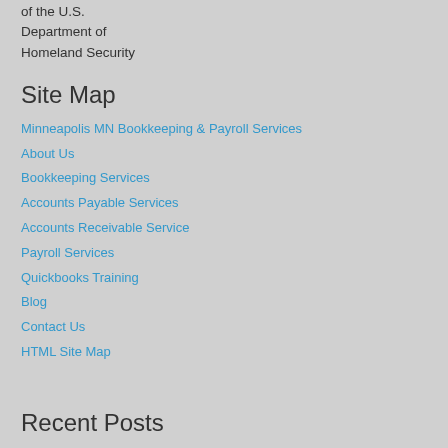of the U.S. Department of Homeland Security
Site Map
Minneapolis MN Bookkeeping & Payroll Services
About Us
Bookkeeping Services
Accounts Payable Services
Accounts Receivable Service
Payroll Services
Quickbooks Training
Blog
Contact Us
HTML Site Map
Recent Posts
The Benefits Of Hiring A Bookkeeper
Why You Should Outsource Payroll to a Professional Company
QuickBooks Training Is A Great Benefit For Your Business!
Do You Need to Outsource Your Bookkeeping Work?
How Our Consultation Can Help You